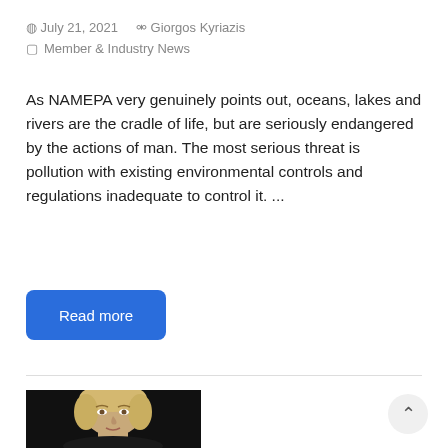July 21, 2021   Giorgos Kyriazis   Member & Industry News
As NAMEPA very genuinely points out, oceans, lakes and rivers are the cradle of life, but are seriously endangered by the actions of man. The most serious threat is pollution with existing environmental controls and regulations inadequate to control it. ...
Read more
[Figure (photo): Portrait photo of a blonde woman against a dark background, cropped showing face and upper shoulders.]